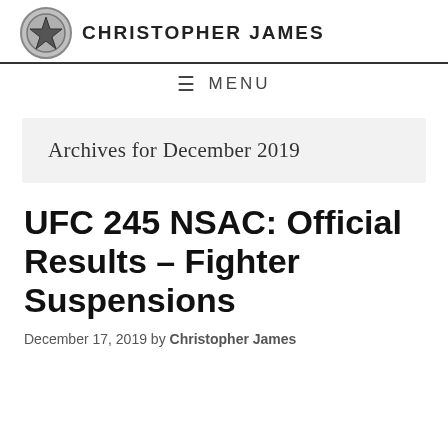CHRISTOPHER JAMES
≡ MENU
Archives for December 2019
UFC 245 NSAC: Official Results – Fighter Suspensions
December 17, 2019 by Christopher James